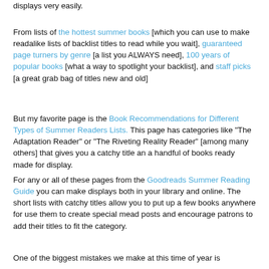displays very easily.
From lists of the hottest summer books [which you can use to make readalike lists of backlist titles to read while you wait], guaranteed page turners by genre [a list you ALWAYS need], 100 years of popular books [what a way to spotlight your backlist], and staff picks [a great grab bag of titles new and old]
But my favorite page is the Book Recommendations for Different Types of Summer Readers Lists. This page has categories like "The Adaptation Reader" or "The Riveting Reality Reader" [among many others] that gives you a catchy title an a handful of books ready made for display.
For any or all of these pages from the Goodreads Summer Reading Guide you can make displays both in your library and online. The short lists with catchy titles allow you to put up a few books anywhere for use them to create special mead posts and encourage patrons to add their titles to fit the category.
One of the biggest mistakes we make at this time of year is